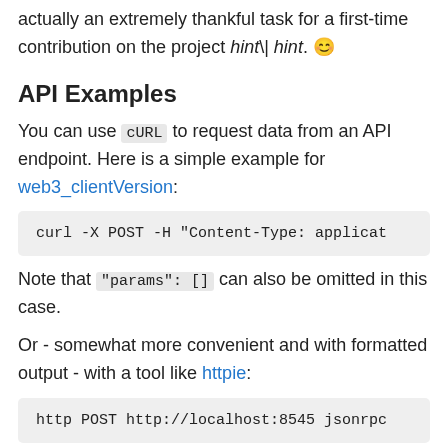actually an extremely thankful task for a first-time contribution on the project hint\| hint. 😊
API Examples
You can use cURL to request data from an API endpoint. Here is a simple example for web3_clientVersion:
curl -X POST -H "Content-Type: applicat
Note that "params": [] can also be omitted in this case.
Or - somewhat more convenient and with formatted output - with a tool like httpie:
http POST http://localhost:8545 jsonrpc